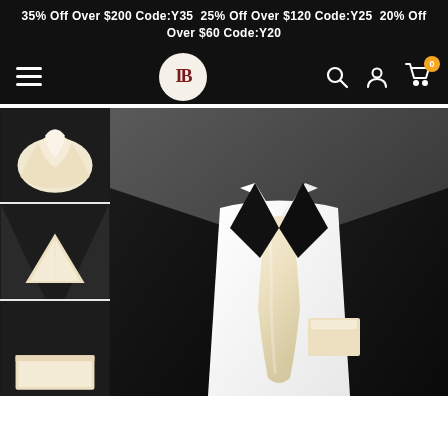35% Off Over $200 Code:Y35  25% Off Over $120 Code:Y25  20% Off Over $60 Code:Y20
[Figure (screenshot): Website navigation bar with hamburger menu, IB logo, search, account, and cart icons on dark background]
[Figure (photo): Product photo collage: three thumbnail images on left showing cream/ivory pocket square in different folds, main large image on right showing mannequin in black suit with cream/ivory necktie and pocket square on white dress shirt]